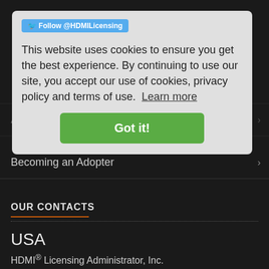[Figure (screenshot): Cookie consent banner with Twitter follow button, cookie notice text, and green Got it! button, overlaid on a dark website navigation page for HDMI Licensing]
Follow @HDMILicensing
This website uses cookies to ensure you get the best experience. By continuing to use our site, you accept our use of cookies, privacy policy and terms of use. Learn more
Got it!
About HDMI Technology
Becoming an Adopter
Trademarks & Logos
OUR CONTACTS
USA
HDMI® Licensing Administrator, Inc.
550 S. Winchester Blvd.